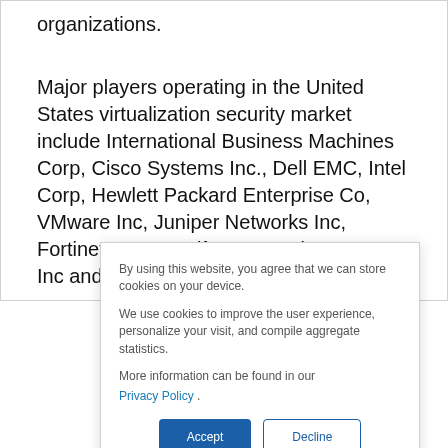organizations.
Major players operating in the United States virtualization security market include International Business Machines Corp, Cisco Systems Inc., Dell EMC, Intel Corp, Hewlett Packard Enterprise Co, VMware Inc, Juniper Networks Inc, Fortinet Inc, Centrify Corporation, HyTrust Inc and others. The
By using this website, you agree that we can store cookies on your device.
We use cookies to improve the user experience, personalize your visit, and compile aggregate statistics.
More information can be found in our Privacy Policy .